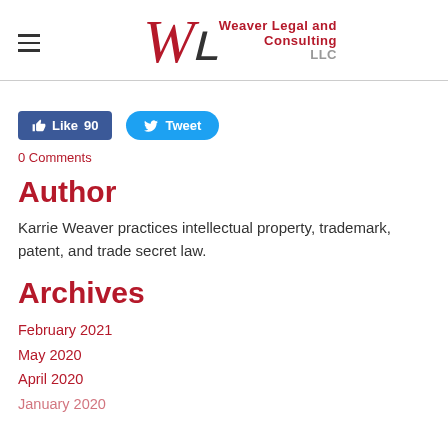Weaver Legal and Consulting LLC
[Figure (logo): WL stylized logo with text Weaver Legal and Consulting LLC]
[Figure (infographic): Facebook Like button showing 90 likes and Twitter Tweet button]
0 Comments
Author
Karrie Weaver practices intellectual property, trademark, patent, and trade secret law.
Archives
February 2021
May 2020
April 2020
January 2020